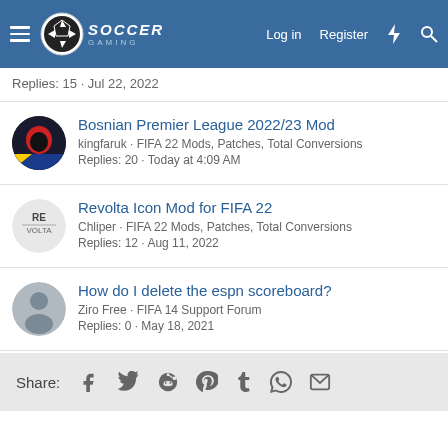Soccer Gaming — Log in | Register
Replies: 15 · Jul 22, 2022
Bosnian Premier League 2022/23 Mod
kingfaruk · FIFA 22 Mods, Patches, Total Conversions
Replies: 20 · Today at 4:09 AM
Revolta Icon Mod for FIFA 22
Chliper · FIFA 22 Mods, Patches, Total Conversions
Replies: 12 · Aug 11, 2022
How do I delete the espn scoreboard?
Ziro Free · FIFA 14 Support Forum
Replies: 0 · May 18, 2021
Share: